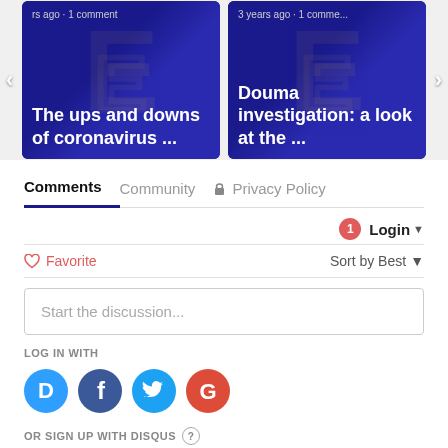[Figure (screenshot): Two article preview cards side by side with navigation arrows. Left card: 'The ups and downs of coronavirus ...' with meta '...rs ago • 1 comment'. Right card: 'Douma investigation: a look at the ...' with meta '3 years ago • 1 comme...' Both cards have dark blue background with EU-style logo watermark.]
Comments	Community	🔒 Privacy Policy
1	Login ▾
♡ Favorite	Sort by Best ▾
Start the discussion...
LOG IN WITH
[Figure (illustration): Four social login buttons: Disqus (blue circle with D), Facebook (dark blue circle with f), Twitter (light blue circle with bird), Google (red circle with G)]
OR SIGN UP WITH DISQUS ?
[Figure (screenshot): Empty sign up input box at the bottom]